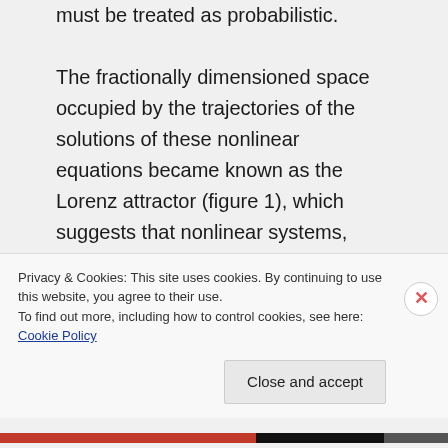must be treated as probabilistic. The fractionally dimensioned space occupied by the trajectories of the solutions of these nonlinear equations became known as the Lorenz attractor (figure 1), which suggests that nonlinear systems, such as the atmosphere, may exhibit regime-like structures that are, although fully deterministic, subject to abrupt and seemingly
Privacy & Cookies: This site uses cookies. By continuing to use this website, you agree to their use.
To find out more, including how to control cookies, see here: Cookie Policy
Close and accept